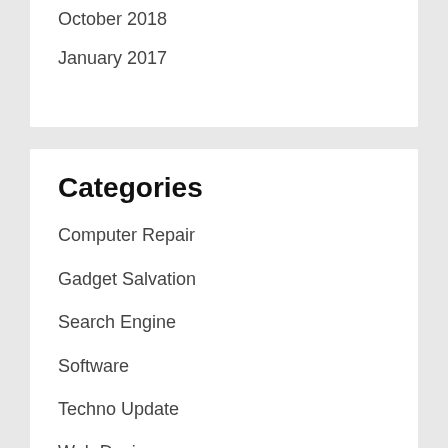October 2018
January 2017
Categories
Computer Repair
Gadget Salvation
Search Engine
Software
Techno Update
Web Design